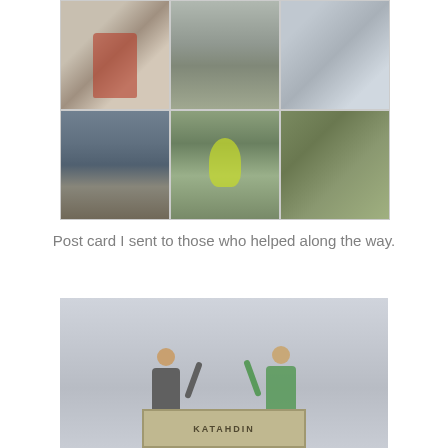[Figure (photo): A collage of 6 photos arranged in a 3-column by 2-row grid: top row shows a hiker with red backpack against stone wall, a covered tent/shelter outdoors, and a trail distance sign; bottom row shows a lake at dusk with mushrooms in foreground, a person in yellow jacket sitting cross-legged on rock slabs, and a close-up of a mossy tree stump.]
Post card I sent to those who helped along the way.
[Figure (photo): Two people raising their joined hands in celebration in front of a stone Katahdin summit sign. The person on the left wears a gray shirt, the person on the right wears a colorful tie-dye top. The sky is overcast gray.]